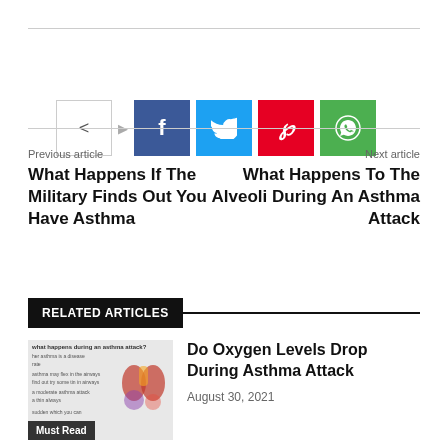[Figure (infographic): Social share buttons row: share icon box, then Facebook (blue), Twitter (cyan), Pinterest (red), WhatsApp (green)]
Previous article
What Happens If The Military Finds Out You Have Asthma
Next article
What Happens To The Alveoli During An Asthma Attack
RELATED ARTICLES
[Figure (infographic): Thumbnail image for article about asthma attack with anatomical lung diagram and text 'what happens during an asthma attack?']
Do Oxygen Levels Drop During Asthma Attack
August 30, 2021